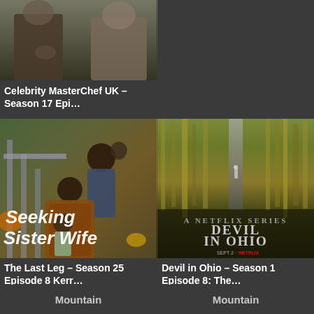[Figure (photo): Thumbnail image for Celebrity MasterChef UK showing two figures, dark background]
Celebrity MasterChef UK – Season 17 Epi…
[Figure (photo): Promotional image for Seeking Sister Wife showing a family on porch stairs with bold italic overlay text reading 'Seeking Sister Wife']
[Figure (photo): Promotional poster for Devil in Ohio Netflix series showing a cornfield with a path and a distant figure, with series title overlaid]
Devil in Ohio – Season 1 Episode 8: The…
The Last Leg – Season 25 Episode 8 Kerr…
Mountain
Mountain